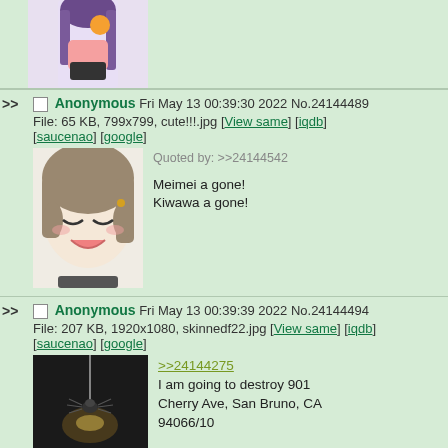[Figure (illustration): Top portion of anime character image, cropped at top]
>> Anonymous Fri May 13 00:39:30 2022 No.24144489
File: 65 KB, 799x799, cute!!!.jpg [View same] [iqdb]
[saucenao] [google]
[Figure (illustration): Anime character face with closed eyes and smile]
Quoted by: >>24144542

Meimei a gone!
Kiwawa a gone!
>> Anonymous Fri May 13 00:39:39 2022 No.24144494
File: 207 KB, 1920x1080, skinnedf22.jpg [View same] [iqdb]
[saucenao] [google]
[Figure (photo): Dark image of a spider hanging on a thread with light]
>>24144275
I am going to destroy 901 Cherry Ave, San Bruno, CA 94066/10
>> Anonymous Fri May 13 00:39:46 2022 No.24144501